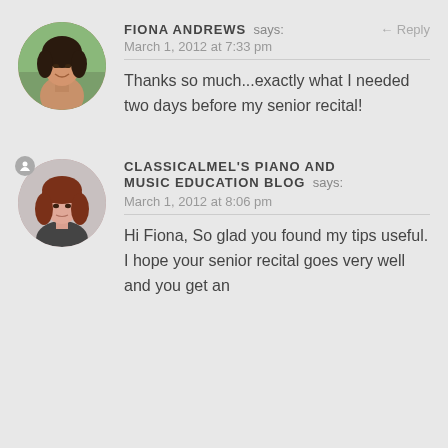[Figure (photo): Circular avatar photo of Fiona Andrews, a young woman with dark hair smiling outdoors]
FIONA ANDREWS says: ← Reply
March 1, 2012 at 7:33 pm
Thanks so much...exactly what I needed two days before my senior recital!
[Figure (photo): Circular avatar photo of ClassicalMel, a woman with auburn hair and bangs]
CLASSICALMEL'S PIANO AND MUSIC EDUCATION BLOG says:
March 1, 2012 at 8:06 pm
Hi Fiona, So glad you found my tips useful. I hope your senior recital goes very well and you get an